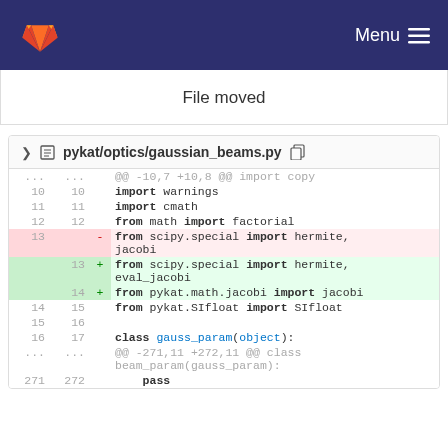[Figure (screenshot): GitLab navigation bar with logo and Menu button]
File moved
pykat/optics/gaussian_beams.py
| old line | new line | diff | code |
| --- | --- | --- | --- |
| ... | ... |  | @@ -10,7 +10,8 @@ import copy |
| 10 | 10 |  | import warnings |
| 11 | 11 |  | import cmath |
| 12 | 12 |  | from math import factorial |
| 13 |  | - | from scipy.special import hermite, jacobi |
|  | 13 | + | from scipy.special import hermite, eval_jacobi |
|  | 14 | + | from pykat.math.jacobi import jacobi |
| 14 | 15 |  | from pykat.SIfloat import SIfloat |
| 15 | 16 |  |  |
| 16 | 17 |  | class gauss_param(object): |
| ... | ... |  | @@ -271,11 +272,11 @@ class beam_param(gauss_param): |
| 271 | 272 |  |     pass |